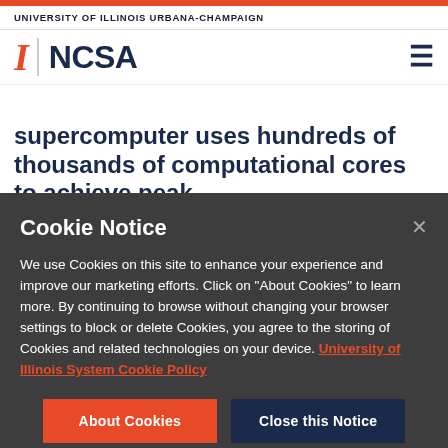UNIVERSITY OF ILLINOIS URBANA-CHAMPAIGN
[Figure (logo): University of Illinois block I logo and NCSA wordmark with hamburger menu icon]
supercomputer uses hundreds of thousands of computational cores to achieve peak
Cookie Notice
We use Cookies on this site to enhance your experience and improve our marketing efforts. Click on "About Cookies" to learn more. By continuing to browse without changing your browser settings to block or delete Cookies, you agree to the storing of Cookies and related technologies on your device. University of Illinois System Cookie Policy